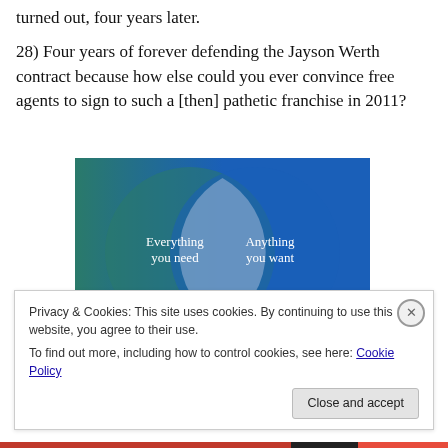turned out, four years later.
28) Four years of forever defending the Jayson Werth contract because how else could you ever convince free agents to sign to such a [then] pathetic franchise in 2011?
[Figure (infographic): Venn diagram with two overlapping circles on a teal-to-blue background. Left circle (teal) labeled 'Everything you need', right circle (blue) labeled 'Anything you want', overlapping region is a lighter blue-grey lens shape.]
Privacy & Cookies: This site uses cookies. By continuing to use this website, you agree to their use.
To find out more, including how to control cookies, see here: Cookie Policy